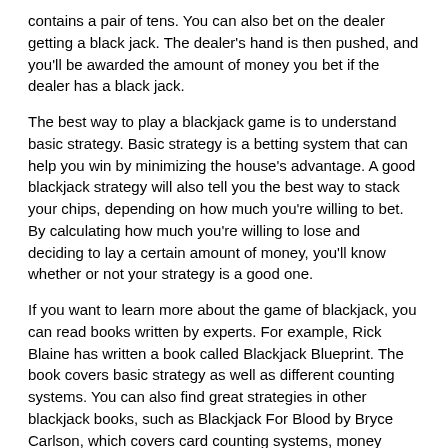contains a pair of tens. You can also bet on the dealer getting a black jack. The dealer's hand is then pushed, and you'll be awarded the amount of money you bet if the dealer has a black jack.
The best way to play a blackjack game is to understand basic strategy. Basic strategy is a betting system that can help you win by minimizing the house's advantage. A good blackjack strategy will also tell you the best way to stack your chips, depending on how much you're willing to bet. By calculating how much you're willing to lose and deciding to lay a certain amount of money, you'll know whether or not your strategy is a good one.
If you want to learn more about the game of blackjack, you can read books written by experts. For example, Rick Blaine has written a book called Blackjack Blueprint. The book covers basic strategy as well as different counting systems. You can also find great strategies in other blackjack books, such as Blackjack For Blood by Bryce Carlson, which covers card counting systems, money management, and more. Lastly, you can find many online sources for blackjack. Aside from blackjack books, there is also a large section on card counting systems in the Wizard of Odds, which offers a free training software. In addition, the Wikipedia page on blackjack contains a lot of reference and information.
One advantage of blackjack is the surrender option. In some games, you can surrender your hand before the dealer checks his hole card, so it is possible to forfeit your hand and win half of your original bet. However, in